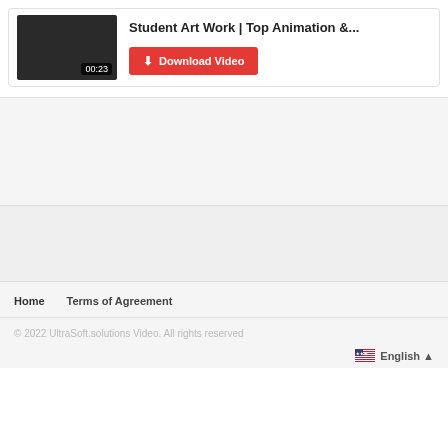[Figure (screenshot): Video thumbnail card with black thumbnail showing timestamp 00:23, title 'Student Art Work | Top Animation &...' and a red Download Video button]
Student Art Work | Top Animation &...
Download Video
Home    Terms of Agreement
© 2022 UltraSoft.solutions Video. All rights reserved
English